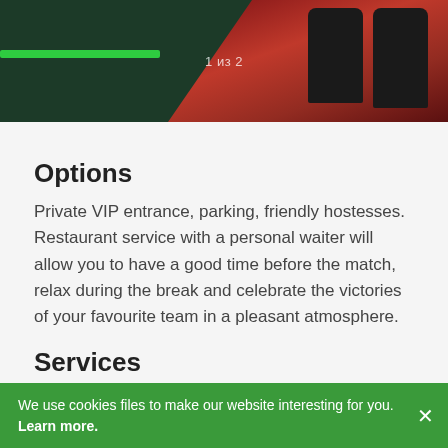[Figure (photo): Photo of red stadium/arena VIP seats with dark green background, showing '1 из 2' counter overlay]
Options
Private VIP entrance, parking, friendly hostesses. Restaurant service with a personal waiter will allow you to have a good time before the match, relax during the break and celebrate the victories of your favourite team in a pleasant atmosphere.
Services
– private lodge with private balcony
– panoramic view of the court
– separate VIP parking
We use cookies files to make our website interesting for you. Learn more.